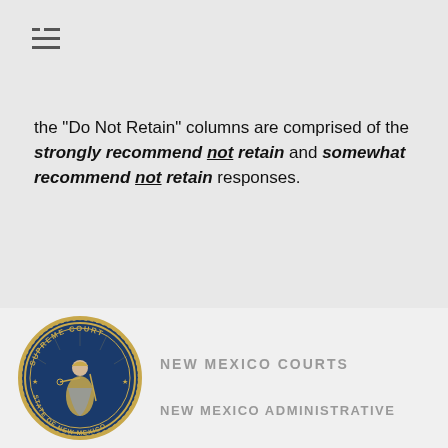☰ (menu icon)
the "Do Not Retain" columns are comprised of the strongly recommend not retain and somewhat recommend not retain responses.
[Figure (logo): New Mexico Supreme Court seal — circular blue seal with figure of Justice holding scales and sword, text reading SUPREME COURT around top and STATE OF NEW MEXICO around bottom]
NEW MEXICO COURTS
NEW MEXICO ADMINISTRATIVE